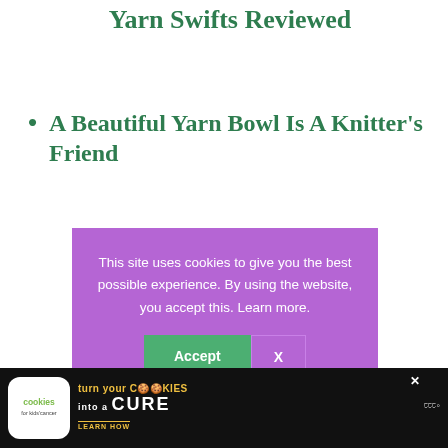Yarn Swifts Reviewed
A Beautiful Yarn Bowl Is A Knitter's Friend
This site uses cookies to give you the best possible experience. By using the website, you accept this. Learn more.
[Figure (screenshot): Cookie consent popup with purple background, Accept (green) and X (outlined) buttons]
[Figure (screenshot): Ad banner: cookies for kids cancer - turn your cookies into a CURE - LEARN HOW]